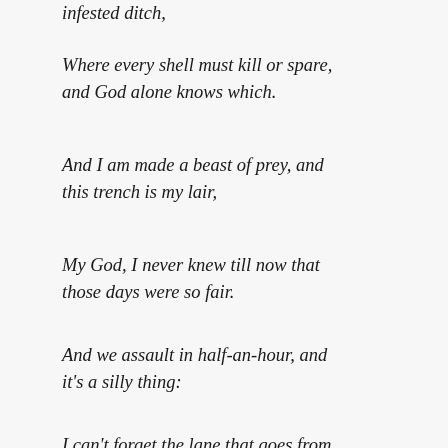infested ditch,
Where every shell must kill or spare, and God alone knows which.
And I am made a beast of prey, and this trench is my lair,
My God, I never knew till now that those days were so fair.
And we assault in half-an-hour, and it's a silly thing:
I can't forget the lane that goes from Steyning to the Ring.